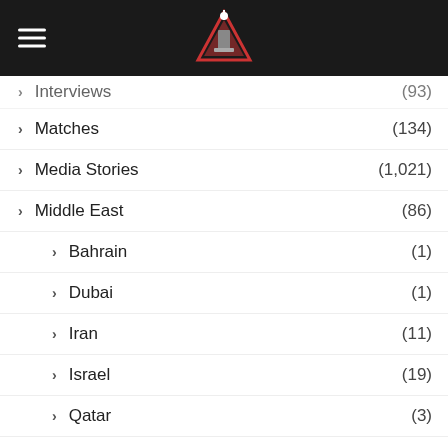Navigation menu header with logo
Interviews (93)
Matches (134)
Media Stories (1,021)
Middle East (86)
Bahrain (1)
Dubai (1)
Iran (11)
Israel (19)
Qatar (3)
Turkey (31)
UAE (21)
Netherlands
North America (592)
Canada (7)